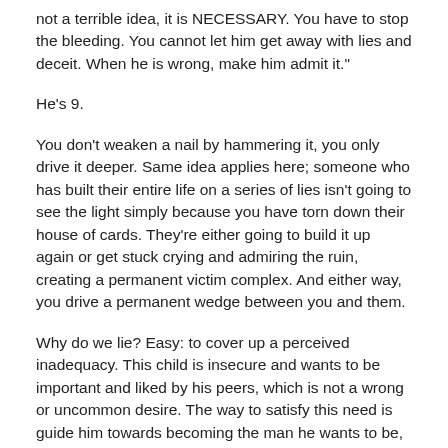not a terrible idea, it is NECESSARY. You have to stop the bleeding. You cannot let him get away with lies and deceit. When he is wrong, make him admit it."
He's 9.
You don't weaken a nail by hammering it, you only drive it deeper. Same idea applies here; someone who has built their entire life on a series of lies isn't going to see the light simply because you have torn down their house of cards. They're either going to build it up again or get stuck crying and admiring the ruin, creating a permanent victim complex. And either way, you drive a permanent wedge between you and them.
Why do we lie? Easy: to cover up a perceived inadequacy. This child is insecure and wants to be important and liked by his peers, which is not a wrong or uncommon desire. The way to satisfy this need is guide him towards becoming the man he wants to be, not berating or subjugating him.
I'm not averse to tough love, but much of what you've